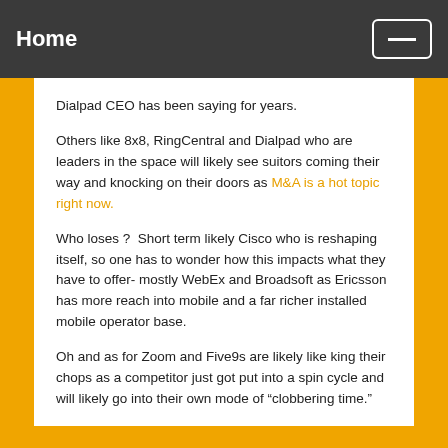Home
Dialpad CEO has been saying for years.
Others like 8x8, RingCentral and Dialpad who are leaders in the space will likely see suitors coming their way and knocking on their doors as M&A is a hot topic right now.
Who loses ?  Short term likely Cisco who is reshaping itself, so one has to wonder how this impacts what they have to offer- mostly WebEx and Broadsoft as Ericsson has more reach into mobile and a far richer installed mobile operator base.
Oh and as for Zoom and Five9s are likely like king their chops as a competitor just got put into a spin cycle and will likely go into their own mode of “clobbering time.”
P.S. There are some good quotes from pal Dean Bubley in the FT article. Ironically, I read those after I wrote this.